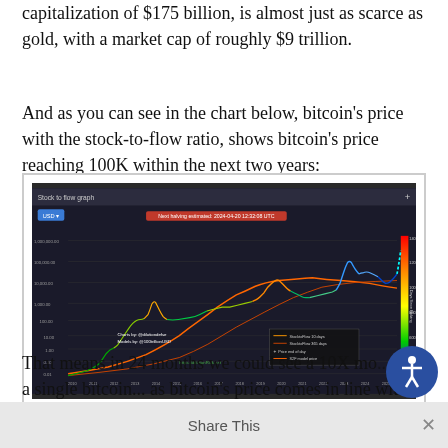capitalization of $175 billion, is almost just as scarce as gold, with a market cap of roughly $9 trillion.
And as you can see in the chart below, bitcoin's price with the stock-to-flow ratio, shows bitcoin's price reaching 100K within the next two years:
[Figure (continuous-plot): Stock-to-flow graph showing bitcoin's historical price alongside stock-to-flow model lines (10-day and 365-day), price end of day, and S2F model price. The chart uses a logarithmic y-axis from 0.01 to 1,000,000.00 USD and color-coded price line from 2010 to 2026.]
(Source: Stock-to-Flow)
That means in 24 months we could see a 10X mo... a single bitcoin... as bitcoin's price comes in line with